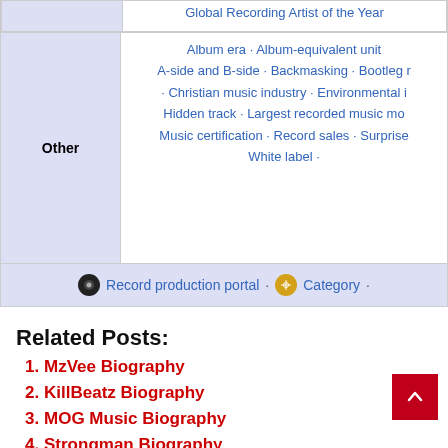|  |  |
| --- | --- |
|  | Global Recording Artist of the Year |
| Other | Album era · Album-equivalent unit · A-side and B-side · Backmasking · Bootleg r... · Christian music industry · Environmental i... · Hidden track · Largest recorded music m... · Music certification · Record sales · Surprise... · White label · |
|  | 🔵 Record production portal · 🔵 Category · |
Related Posts:
MzVee Biography
KillBeatz Biography
MOG Music Biography
Strongman Biography
« Kweku Flick    Diamond Platnumz